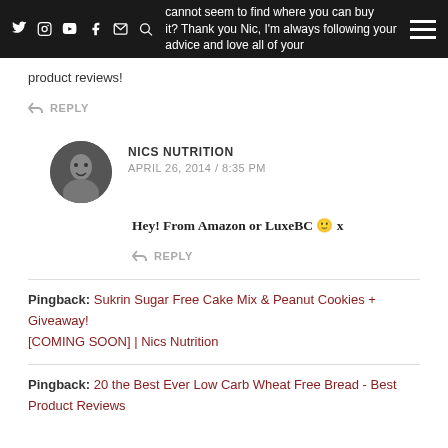Social media icons navigation bar with text: ...ally...t t...th...ad...Su...cannot seem to find where you can buy it? Thank you Nic, I'm always following your advice and love all of your product reviews!
product reviews!
↩ REPLY
NICS NUTRITION
APRIL 26, 2014 / 8:35 PM
Hey! From Amazon or LuxeBC 🙂 x
↩ REPLY
Pingback: Sukrin Sugar Free Cake Mix & Peanut Cookies + Giveaway! [COMING SOON] | Nics Nutrition
Pingback: 20 the Best Ever Low Carb Wheat Free Bread - Best Product Reviews